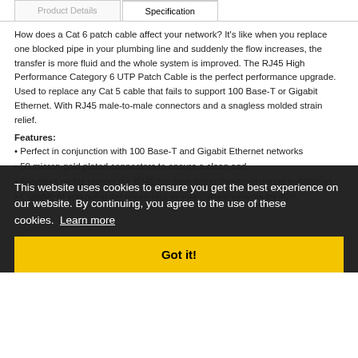Product Details | Specification
How does a Cat 6 patch cable affect your network? It's like when you replace one blocked pipe in your plumbing line and suddenly the flow increases, the transfer is more fluid and the whole system is improved. The RJ45 High Performance Category 6 UTP Patch Cable is the perfect performance upgrade. Used to replace any Cat 5 cable that fails to support 100 Base-T or Gigabit Ethernet. With RJ45 male-to-male connectors and a snagless molded strain relief.
Features:
Perfect in conjunction with 100 Base-T and Gigabit Ethernet networks
50 micron gold plated connectors to ensure a clean and
Snagless molds protect the RJ45 tap from being damaged during installation.
Capable of improving the return loss in your current network by 40%.
This website uses cookies to ensure you get the best experience on our website. By continuing, you agree to the use of these cookies. Learn more
Got it!